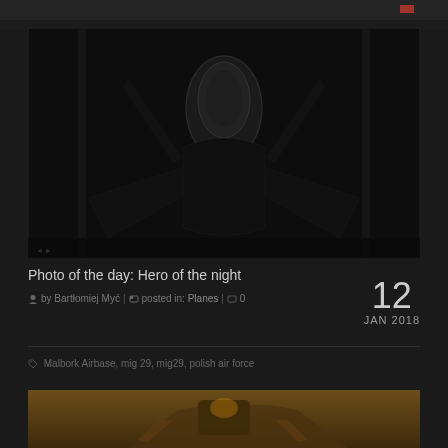[Figure (photo): Dark silhouette of a fighter jet (MiG-29) from front view at night, cockpit visible]
Photo of the day: Hero of the night
by Bartłomiej Myć | posted in: Planes | 0
12 JAN 2018
Malbork Airbase, mig 29, mig29, polish air force
[Figure (photo): Partial view of aircraft at bottom of page, warm golden tones]